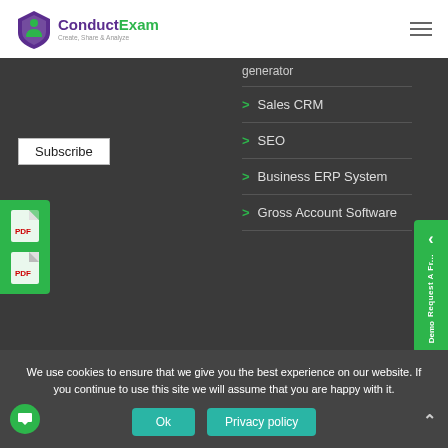[Figure (logo): ConductExam logo with purple and green shield icon, text 'ConductExam' in purple and green, tagline 'Create, Share & Analyze']
[Figure (other): Hamburger menu icon (three horizontal lines) in top right corner]
generator
> Sales CRM
> SEO
> Business ERP System
> Gross Account Software
[Figure (other): Subscribe button with white background and border]
[Figure (other): Green left side tab with two PDF file icons]
[Figure (other): Green right side tab with left arrow icon and vertical text 'Request A Fr... Demo']
We use cookies to ensure that we give you the best experience on our website. If you continue to use this site we will assume that you are happy with it.
[Figure (other): Ok button (teal) and Privacy policy button (teal) in cookie banner]
[Figure (other): Chat bubble icon (green circle with white chat icon) bottom left]
[Figure (other): Scroll up arrow (^) bottom right]